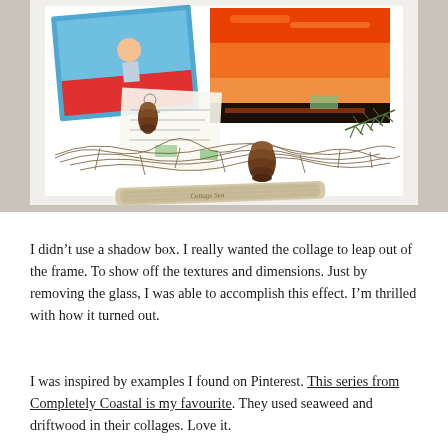[Figure (photo): A framed collage displayed on a surface. The collage contains photographs (including a child's photo, a vivid sunset over water), natural elements such as pine cones, evergreen branch, dried plant material arranged in a net-like pattern, small green paper pieces, and a piece of driftwood at the bottom with text on it. The frame is white-matted.]
I didn't use a shadow box. I really wanted the collage to leap out of the frame. To show off the textures and dimensions. Just by removing the glass, I was able to accomplish this effect. I'm thrilled with how it turned out.
I was inspired by examples I found on Pinterest. This series from Completely Coastal is my favourite. They used seaweed and driftwood in their collages. Love it.